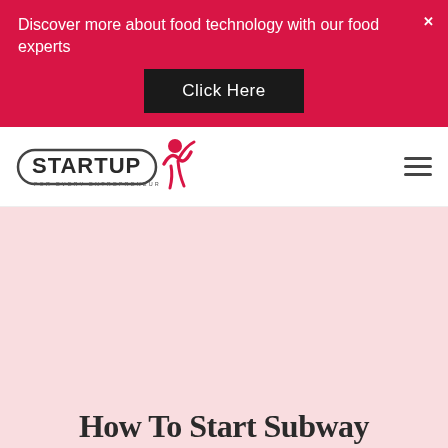Discover more about food technology with our food experts
Click Here
[Figure (logo): StartupYo logo — FOR EVERY ENTREPRENEUR — with a stylized person/figure in red]
How To Start Subway